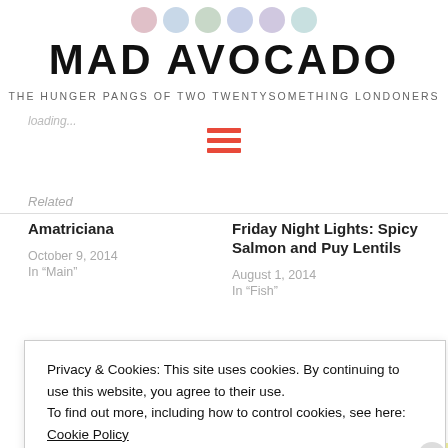[Figure (other): Social media sharing icons row (Pinterest, Google+, Twitter, Facebook, Tumblr, Email) as grey circles at top of page]
MAD AVOCADO
THE HUNGER PANGS OF TWO TWENTYSOMETHING LONDONERS
[Figure (other): Hamburger menu icon with three red horizontal lines]
Related
Amatriciana
October 9, 2014
In "Main"
Friday Night Lights: Spicy Salmon and Puy Lentils
August 1, 2014
In "Fish"
Privacy & Cookies: This site uses cookies. By continuing to use this website, you agree to their use.
To find out more, including how to control cookies, see here: Cookie Policy
CLOSE AND ACCEPT